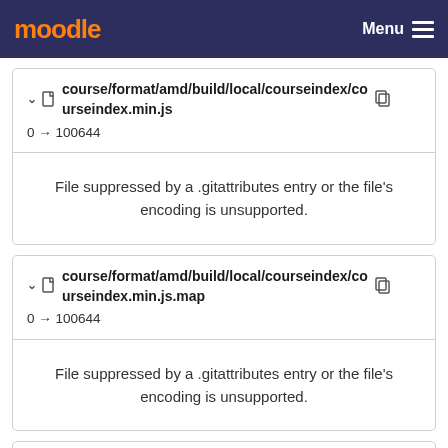moodle  Menu
course/format/amd/build/local/courseindex/courseindex.min.js  0 → 100644
File suppressed by a .gitattributes entry or the file's encoding is unsupported.
course/format/amd/build/local/courseindex/courseindex.min.js.map  0 → 100644
File suppressed by a .gitattributes entry or the file's encoding is unsupported.
course/format/amd/build/local/courseindex/drawer.min.js  0 → 100644